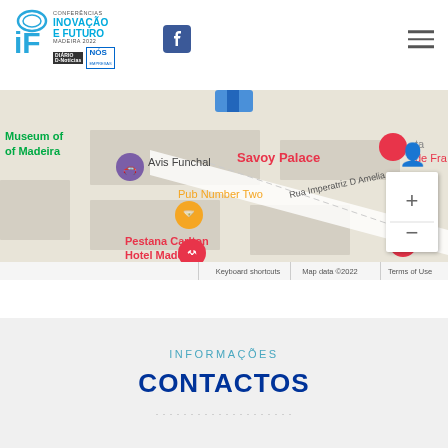[Figure (logo): IF Conferências Inovação e Futuro Madeira 2022 logo with Facebook icon and hamburger menu]
[Figure (map): Google Maps screenshot showing Savoy Palace area in Funchal, Madeira with markers for Avis Funchal, Pub Number Two, Pestana Carlton Hotel Madeira, Restaurante Casal da Penha, and other landmarks along Rua Imperatriz D Amelia]
INFORMAÇÕES
CONTACTOS
...